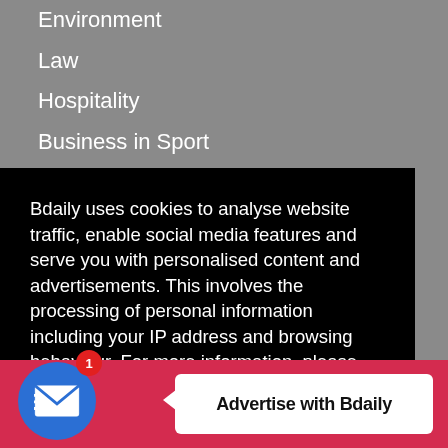Environment
Law
Hospitality
Business in Sport
Register
Careers
Bdaily uses cookies to analyse website traffic, enable social media features and serve you with personalised content and advertisements. This involves the processing of personal information including your IP address and browsing behaviour. For more information, please see our  Cookies Policy
Advertise with Bdaily